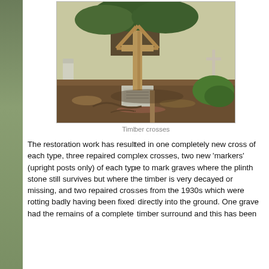[Figure (photo): Photograph of timber crosses in a cemetery. A wooden cross with a gabled top and decorative cross-shaped cutout stands on a stone plinth base, with other grave markers and trees visible in the background.]
Timber crosses
The restoration work has resulted in one completely new cross of each type, three repaired complex crosses, two new 'markers' (upright posts only) of each type to mark graves where the plinth stone still survives but where the timber is very decayed or missing, and two repaired crosses from the 1930s which were rotting badly having been fixed directly into the ground. One grave had the remains of a complete timber surround and this has been